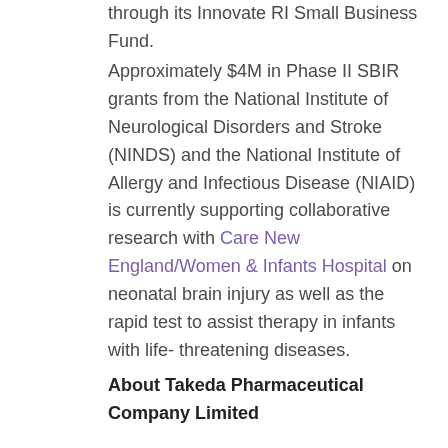through its Innovate RI Small Business Fund.
Approximately $4M in Phase II SBIR grants from the National Institute of Neurological Disorders and Stroke (NINDS) and the National Institute of Allergy and Infectious Disease (NIAID) is currently supporting collaborative research with Care New England/Women & Infants Hospital on neonatal brain injury as well as the rapid test to assist therapy in infants with life-threatening diseases.
About Takeda Pharmaceutical Company Limited